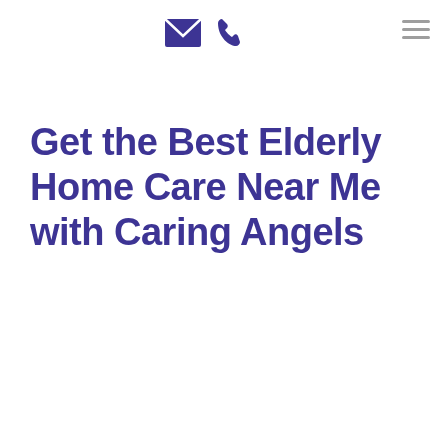[envelope icon] [phone icon] [hamburger menu]
Get the Best Elderly Home Care Near Me with Caring Angels